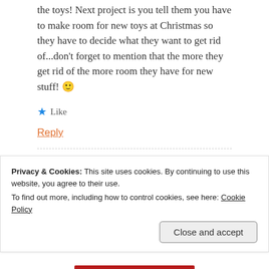the toys! Next project is you tell them you have to make room for new toys at Christmas so they have to decide what they want to get rid of...don't forget to mention that the more they get rid of the more room they have for new stuff! 🙂
★ Like
Reply
Sasha
OCTOBER 29, 2014 AT 10:25 PM
Privacy & Cookies: This site uses cookies. By continuing to use this website, you agree to their use.
To find out more, including how to control cookies, see here: Cookie Policy
Close and accept